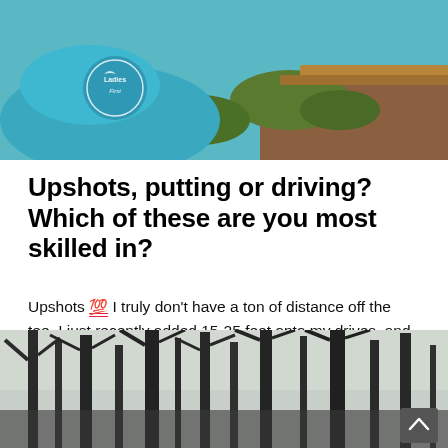[Figure (photo): Person wearing a teal/blue golf shirt with 'Ladies First' logo on the back, outdoors with ferns and wooden structures in background]
Upshots, putting or driving? Which of these are you most skilled in?
Upshots 💯 I truly don't have a ton of distance off the tee, I just recently added 15-25 feet onto my drives, and that's got me capping out at 240-250' maybe 260' if its crazy good, but I will generally park any upshot within 10 feet. Well, at least I did when I was in top golf shape. And that's still the golfer I identify with.
[Figure (photo): Dark forest scene with bare winter trees, silhouettes of trunks and branches against a grey sky. A dark scroll-to-top button is visible in the bottom right corner.]